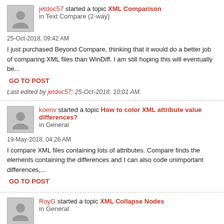jetdoc57 started a topic XML Comparison in Text Compare (2-way)
25-Oct-2018, 09:42 AM
I just purchased Beyond Compare, thinking that it would do a better job of comparing XML files than WinDiff. I am still hoping this will eventually be...
GO TO POST
Last edited by jetdoc57; 25-Oct-2018, 10:01 AM.
koenv started a topic How to color XML attribute value differences? in General
19-May-2018, 04:26 AM
I compare XML files containing lots of attributes. Compare finds the elements containing the differences and I can also code unimportant differences,...
GO TO POST
RoyG started a topic XML Collapse Nodes in General
18-May-2016, 07:01 AM